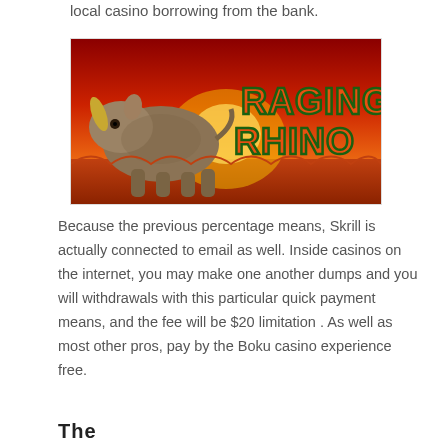local casino borrowing from the bank.
[Figure (illustration): Raging Rhino slot game promotional banner showing a rhinoceros on a fiery red/orange savanna background with the text 'Raging Rhino' in large stylized green-outlined orange letters.]
Because the previous percentage means, Skrill is actually connected to email as well. Inside casinos on the internet, you may make one another dumps and you will withdrawals with this particular quick payment means, and the fee will be $20 limitation . As well as most other pros, pay by the Boku casino experience free.
The...